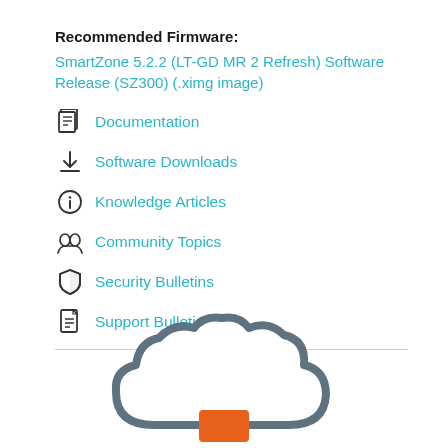Recommended Firmware:
SmartZone 5.2.2 (LT-GD MR 2 Refresh) Software Release (SZ300) (.ximg image)
Documentation
Software Downloads
Knowledge Articles
Community Topics
Security Bulletins
Support Bulletins
[Figure (illustration): Cloud icon with orange upload/server symbol at the bottom center, partially visible]